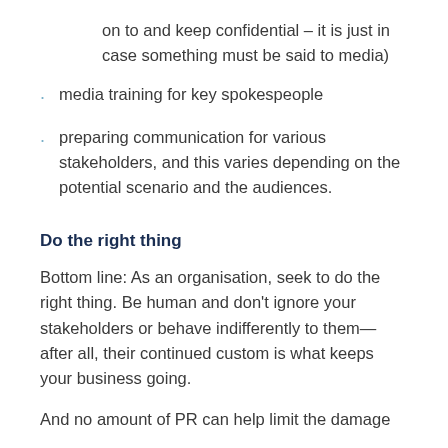on to and keep confidential – it is just in case something must be said to media)
media training for key spokespeople
preparing communication for various stakeholders, and this varies depending on the potential scenario and the audiences.
Do the right thing
Bottom line: As an organisation, seek to do the right thing. Be human and don't ignore your stakeholders or behave indifferently to them—after all, their continued custom is what keeps your business going.
And no amount of PR can help limit the damage